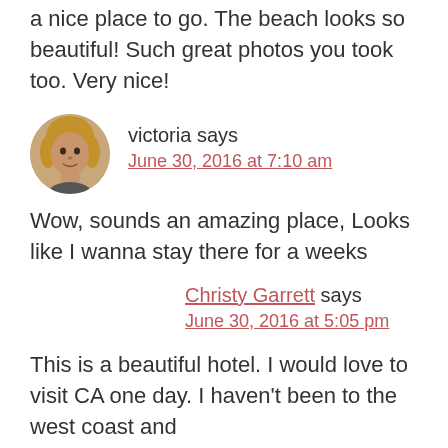a nice place to go. The beach looks so beautiful! Such great photos you took too. Very nice!
[Figure (photo): Circular avatar photo of Victoria, a woman with blonde/light brown hair]
victoria says
June 30, 2016 at 7:10 am
Wow, sounds an amazing place, Looks like I wanna stay there for a weeks
Christy Garrett says
June 30, 2016 at 5:05 pm
This is a beautiful hotel. I would love to visit CA one day. I haven't been to the west coast and